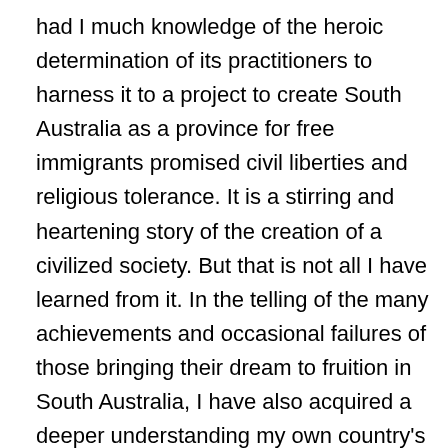had I much knowledge of the heroic determination of its practitioners to harness it to a project to create South Australia as a province for free immigrants promised civil liberties and religious tolerance. It is a stirring and heartening story of the creation of a civilized society. But that is not all I have learned from it. In the telling of the many achievements and occasional failures of those bringing their dream to fruition in South Australia, I have also acquired a deeper understanding my own country's depressing condition in the early decades of the 19th century which led enlightened minds to see in civilized non-penal colonization a potentially crucial contribution to tackling Britain's appalling levels of poverty. Dr. Nicholas's book should occupy an important place in the bibliography of political and social history of the times and places he has described. The street signs in the great